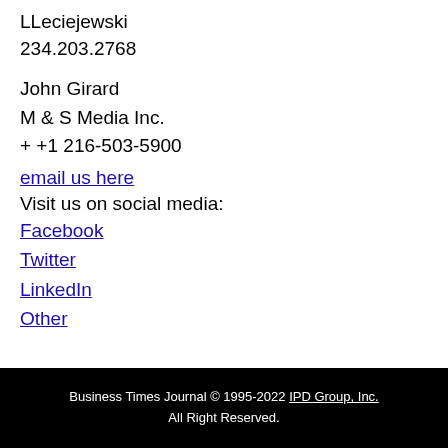LLeciejewski
234.203.2768
John Girard
M & S Media Inc.
+ +1 216-503-5900
email us here
Visit us on social media:
Facebook
Twitter
LinkedIn
Other
Business Times Journal © 1995-2022 IPD Group, Inc.
All Right Reserved.